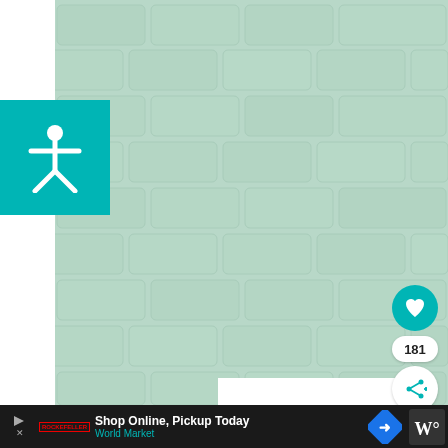[Figure (photo): Light mint/sage green painted brick wall texture, showing rows of rectangular bricks with mortar joints, photographed straight-on. The bricks are uniformly painted in a soft mint green color.]
[Figure (illustration): Teal square button in top-left corner containing a white accessibility icon (person with arms outstretched).]
[Figure (illustration): Teal circular heart/like button on the right side of the image.]
181
[Figure (illustration): White circular share button with teal share/network icon and plus sign.]
Shop Online, Pickup Today
World Market